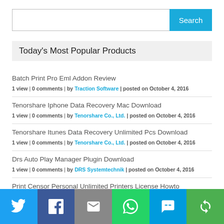[Figure (screenshot): Search input box with blue Search button]
Today's Most Popular Products
Batch Print Pro Eml Addon Review
1 view | 0 comments | by Traction Software | posted on October 4, 2016
Tenorshare Iphone Data Recovery Mac Download
1 view | 0 comments | by Tenorshare Co., Ltd. | posted on October 4, 2016
Tenorshare Itunes Data Recovery Unlimited Pcs Download
1 view | 0 comments | by Tenorshare Co., Ltd. | posted on October 4, 2016
Drs Auto Play Manager Plugin Download
1 view | 0 comments | by DRS Systemtechnik | posted on October 4, 2016
Print Censor Personal Unlimited Printers License Howto
1 view | 0 comments | by UsefulSoft | posted on October 4, 2016
Batch Print Pro Web Log Server Review
[Figure (infographic): Social sharing bar with Twitter, Facebook, Email, WhatsApp, SMS, and Share icons]